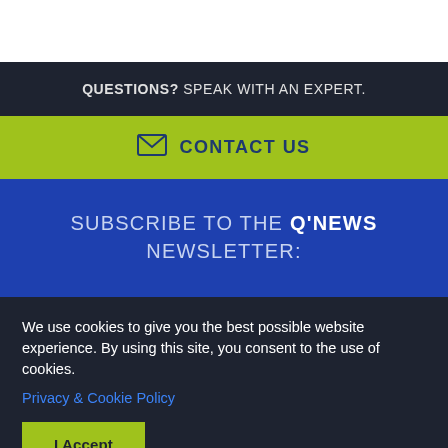QUESTIONS? SPEAK WITH AN EXPERT.
CONTACT US
SUBSCRIBE TO THE Q'NEWS NEWSLETTER:
We use cookies to give you the best possible website experience. By using this site, you consent to the use of cookies.
Privacy & Cookie Policy
I Accept